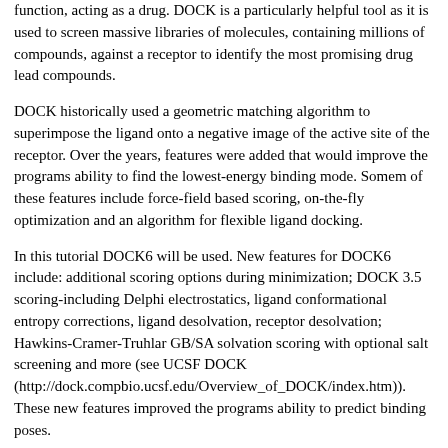function, acting as a drug. DOCK is a particularly helpful tool as it is used to screen massive libraries of molecules, containing millions of compounds, against a receptor to identify the most promising drug lead compounds.
DOCK historically used a geometric matching algorithm to superimpose the ligand onto a negative image of the active site of the receptor. Over the years, features were added that would improve the programs ability to find the lowest-energy binding mode. Somem of these features include force-field based scoring, on-the-fly optimization and an algorithm for flexible ligand docking.
In this tutorial DOCK6 will be used. New features for DOCK6 include: additional scoring options during minimization; DOCK 3.5 scoring-including Delphi electrostatics, ligand conformational entropy corrections, ligand desolvation, receptor desolvation; Hawkins-Cramer-Truhlar GB/SA solvation scoring with optional salt screening and more (see UCSF DOCK (http://dock.compbio.ucsf.edu/Overview_of_DOCK/index.htm)). These new features improved the programs ability to predict binding poses.
1S19
This tutorial will use PDB code: 1S19. 1S19 is the crystal structure of